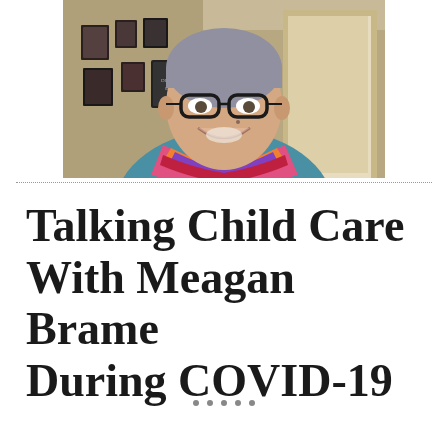[Figure (photo): Video screenshot of a woman with short gray hair and glasses wearing a colorful scarf and teal cardigan, smiling, in a home setting with pictures on the wall and a door visible in the background.]
Talking Child Care With Meagan Brame During COVID-19